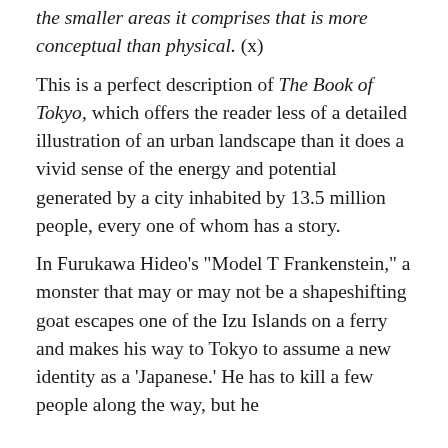the smaller areas it comprises that is more conceptual than physical. (x)
This is a perfect description of The Book of Tokyo, which offers the reader less of a detailed illustration of an urban landscape than it does a vivid sense of the energy and potential generated by a city inhabited by 13.5 million people, every one of whom has a story.
In Furukawa Hideo's "Model T Frankenstein," a monster that may or may not be a shapeshifting goat escapes one of the Izu Islands on a ferry and makes his way to Tokyo to assume a new identity as a 'Japanese.' He has to kill a few people along the way, but he